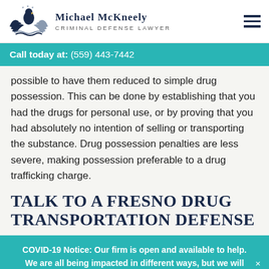[Figure (logo): Michael McKneely Criminal Defense Lawyer logo with eagle and wings emblem]
MICHAEL McKNEELY
CRIMINAL DEFENSE LAWYER
Call today at: (559) 443-7442
possible to have them reduced to simple drug possession. This can be done by establishing that you had the drugs for personal use, or by proving that you had absolutely no intention of selling or transporting the substance. Drug possession penalties are less severe, making possession preferable to a drug trafficking charge.
TALK TO A FRESNO DRUG TRANSPORTATION DEFENSE
COVID-19 Notice: Our firm is open and available to help. We are all being impacted in different ways, but we will all get through this together. Learn More